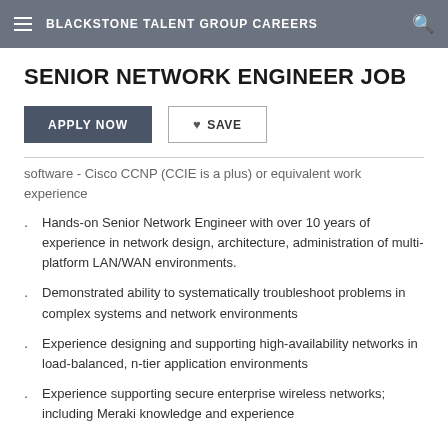BLACKSTONE TALENT GROUP CAREERS
SENIOR NETWORK ENGINEER JOB
software - Cisco CCNP (CCIE is a plus) or equivalent work experience
Hands-on Senior Network Engineer with over 10 years of experience in network design, architecture, administration of multi-platform LAN/WAN environments.
Demonstrated ability to systematically troubleshoot problems in complex systems and network environments
Experience designing and supporting high-availability networks in load-balanced, n-tier application environments
Experience supporting secure enterprise wireless networks; including Meraki knowledge and experience